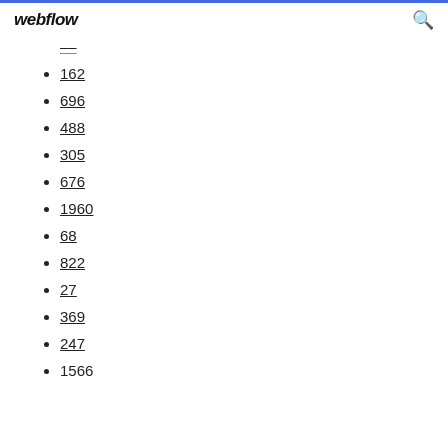webflow
...
162
696
488
305
676
1960
68
822
27
369
247
1566